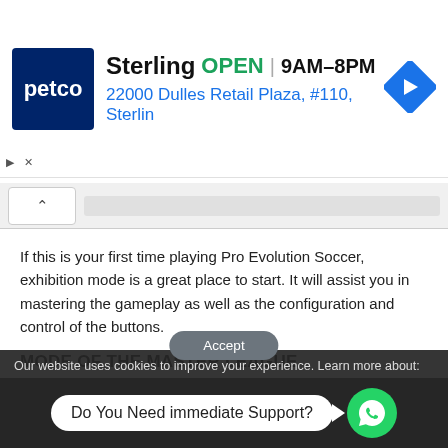[Figure (infographic): Petco store ad banner showing logo, store name Sterling, OPEN status, hours 9AM-8PM, address 22000 Dulles Retail Plaza #110 Sterlin, and navigation arrow icon]
If this is your first time playing Pro Evolution Soccer, exhibition mode is a great place to start. It will assist you in mastering the gameplay as well as the configuration and control of the buttons.
MODE OF THE MASTER LEAGUE
You take on the role of a football manager in PES 23 master league mode. You'll be able to form your own team, register players, manage club resources, compete in league and
Our website uses cookies to improve your experience. Learn more about:
Do You Need immediate Support?
Accept